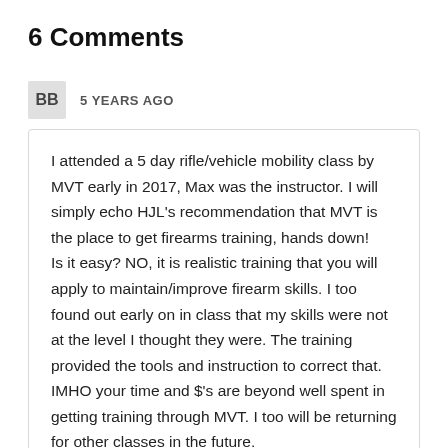6 Comments
BB   5 YEARS AGO
I attended a 5 day rifle/vehicle mobility class by MVT early in 2017, Max was the instructor. I will simply echo HJL’s recommendation that MVT is the place to get firearms training, hands down!
Is it easy? NO, it is realistic training that you will apply to maintain/improve firearm skills. I too found out early on in class that my skills were not at the level I thought they were. The training provided the tools and instruction to correct that.
IMHO your time and $’s are beyond well spent in getting training through MVT. I too will be returning for other classes in the future.